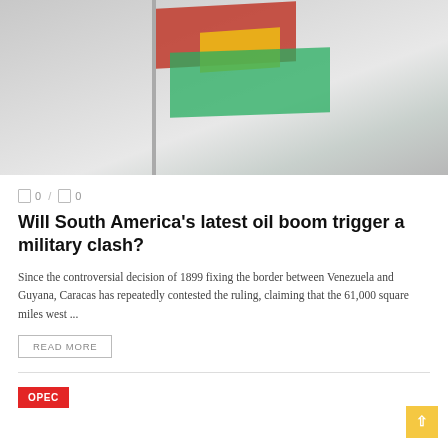[Figure (photo): Photo of a flag (red, green, yellow colors) waving on a pole against a light gray background, likely the Guyanese flag.]
0 / 0
Will South America's latest oil boom trigger a military clash?
Since the controversial decision of 1899 fixing the border between Venezuela and Guyana, Caracas has repeatedly contested the ruling, claiming that the 61,000 square miles west ...
READ MORE
OPEC